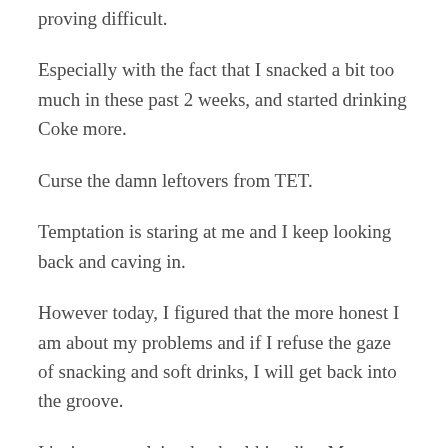proving difficult.
Especially with the fact that I snacked a bit too much in these past 2 weeks, and started drinking Coke more.
Curse the damn leftovers from TET.
Temptation is staring at me and I keep looking back and caving in.
However today, I figured that the more honest I am about my problems and if I refuse the gaze of snacking and soft drinks, I will get back into the groove.
It's time to reclaim that healthier diet. More